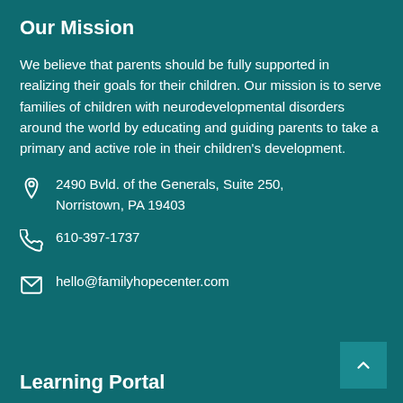Our Mission
We believe that parents should be fully supported in realizing their goals for their children. Our mission is to serve families of children with neurodevelopmental disorders around the world by educating and guiding parents to take a primary and active role in their children's development.
2490 Bvld. of the Generals, Suite 250, Norristown, PA 19403
610-397-1737
hello@familyhopecenter.com
Learning Portal